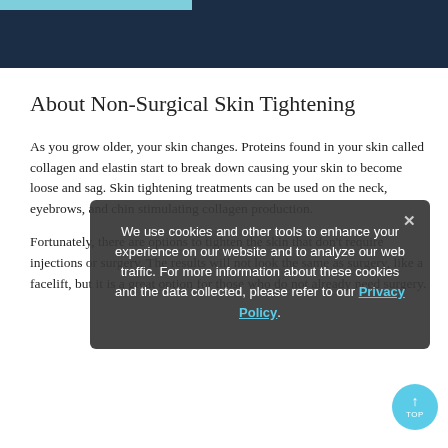About Non-Surgical Skin Tightening
As you grow older, your skin changes. Proteins found in your skin called collagen and elastin start to break down causing your skin to become loose and sag. Skin tightening treatments can be used on the neck, eyebrows, and chin stimulating collagen production.
Fortunately, there are options to tighten the skin that don't require injections or surgery. The results will not look the same as surgery, like a facelift, but it is a great option for those who do not already need surgery.
We use cookies and other tools to enhance your experience on our website and to analyze our web traffic. For more information about these cookies and the data collected, please refer to our Privacy Policy.